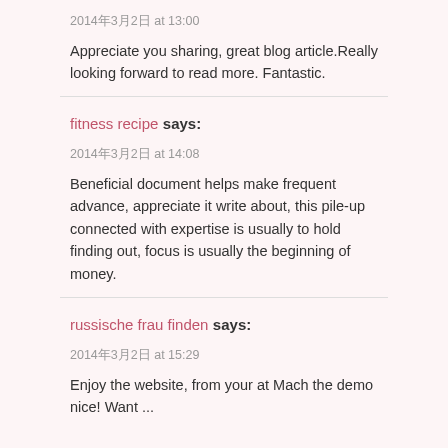2014年3月2日 at 13:00
Appreciate you sharing, great blog article.Really looking forward to read more. Fantastic.
fitness recipe says:
2014年3月2日 at 14:08
Beneficial document helps make frequent advance, appreciate it write about, this pile-up connected with expertise is usually to hold finding out, focus is usually the beginning of money.
russische frau finden says:
2014年3月2日 at 15:29
Enjoy the website, from your at Mach the demo nice! Want ...